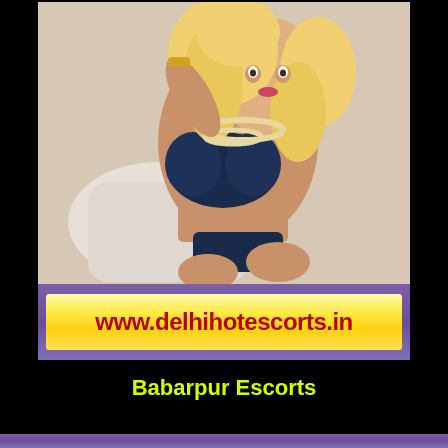[Figure (photo): A blonde woman in a dark navy blue bikini/swimwear set, posed on a white chair, wearing a pearl necklace and gold bracelet. Promotional photo for escort service website.]
[Figure (illustration): Banner with purple background and yellow gradient inner banner displaying website URL text 'www.delhihotescorts.in' in bold red letters]
Babarpur Escorts